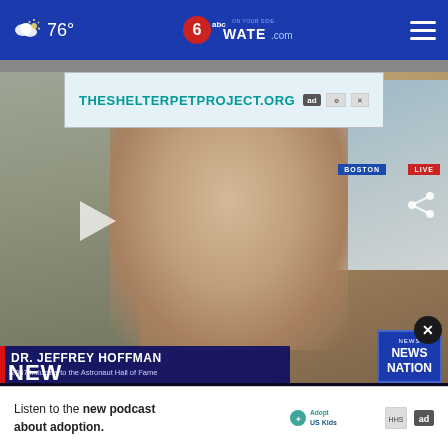76° WATE.com (abc 6 On Your Side)
[Figure (screenshot): Advertisement banner: THESHELTERPETPROJECT.ORG with ad choice icons]
[Figure (screenshot): News video screenshot showing Dr. Jeffrey Hoffman, 2007 inductee to the Astronaut Hall of Fame, in a live remote from Boston on NewsNation. Elderly white-haired man in white shirt. Bookshelf in background left, window/sky right. Play button visible. Lower-third chyron identifies subject. Ticker at bottom reads about U.S. ending COVID-19 testing requirement.]
[Figure (screenshot): Bottom advertisement: Listen to the new podcast about adoption. Adopt US Kids logo and ad choice icon.]